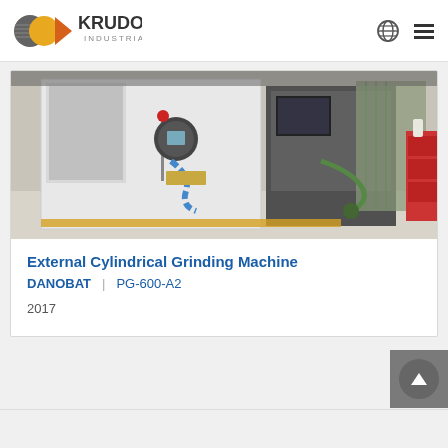KRUDO INDUSTRIAL
[Figure (photo): External cylindrical grinding machine (DANOBAT PG-600-A2) on a factory floor, showing the machine body with control panel, blue spiral hose, and green robotic arm attachment]
External Cylindrical Grinding Machine
DANOBAT | PG-600-A2
2017